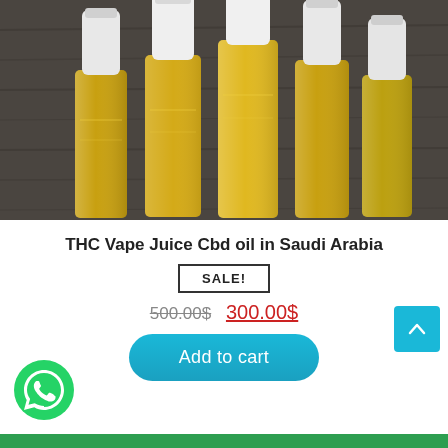[Figure (photo): Multiple small vape juice bottles with golden/yellow liquid and white caps arranged together on a wooden surface]
THC Vape Juice Cbd oil in Saudi Arabia
SALE!
500.00$ 300.00$